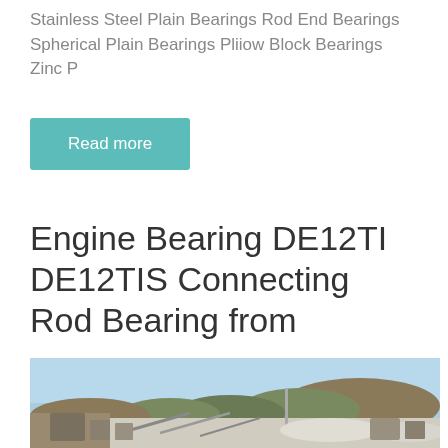Stainless Steel Plain Bearings Rod End Bearings Spherical Plain Bearings Pliiow Block Bearings Zinc P
Read more
Engine Bearing DE12TI DE12TIS Connecting Rod Bearing from
[Figure (photo): Outdoor industrial quarry/mining site with machinery, conveyor belts, and excavation equipment against a backdrop of hills and blue sky.]